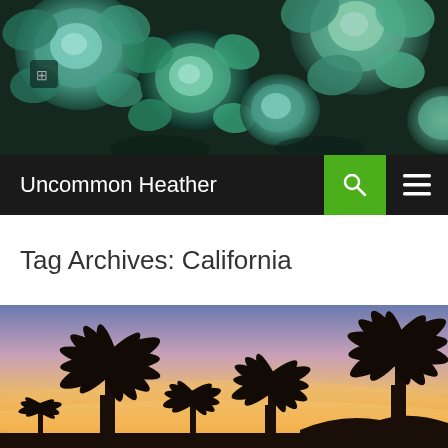[Figure (photo): Close-up photo of green/teal succulent plants filling the entire frame]
Uncommon Heather
[Figure (photo): Sunset photo with silhouettes of palm trees against an orange and purple sky]
Tag Archives: California
Follow